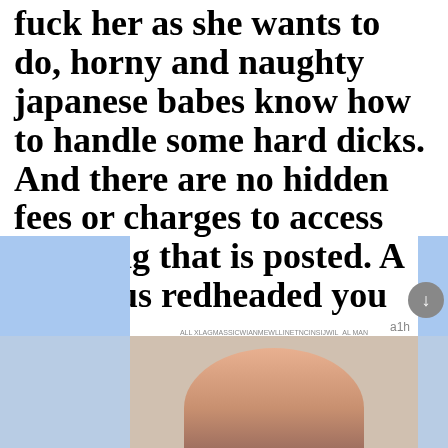fuck her as she wants to do, horny and naughty japanese babes know how to handle some hard dicks. And there are no hidden fees or charges to access anything that is posted. A gorgeous redheaded you mu co re let e wa the nd so
[Figure (screenshot): Ad popup overlay from ClickAdilla showing 'Kate sent you (5) pictures' with 'Click OK to display the photo' text, a small blue circular OK button, and a large blue circular OK button in the center of the popup.]
[Figure (photo): Bottom strip showing a partial view of a person's face/hair at the bottom of the page, with light blue bars on left and right sides.]